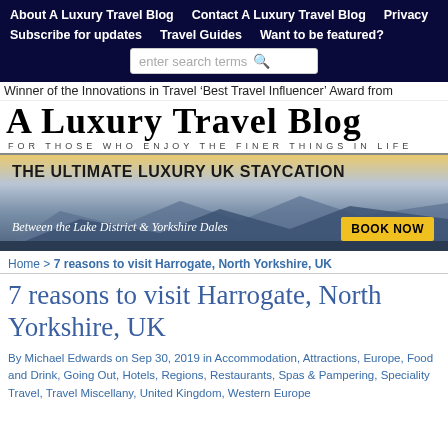About A Luxury Travel Blog | Contact A Luxury Travel Blog | Privacy | Subscribe for updates | Travel Guides | Want to be featured?
Winner of the Innovations in Travel 'Best Travel Influencer' Award from
A LUXURY TRAVEL BLOG
FOR THOSE WHO ENJOY THE FINER THINGS IN LIFE
[Figure (infographic): Ad banner: THE ULTIMATE LUXURY UK STAYCATION - Between the Lake District & Yorkshire Dales - BOOK NOW button]
Home > 7 reasons to visit Harrogate, North Yorkshire, UK
7 reasons to visit Harrogate, North Yorkshire, UK
By Michael Edwards on Sep 30, 2019 in Accommodation, Attractions, Europe, Food and Drink, Going Out, Hotels, Regions, Restaurants, Spas & Pampering, Speciality Travel, Travel Miscellany, United Kingdom, Western Europe